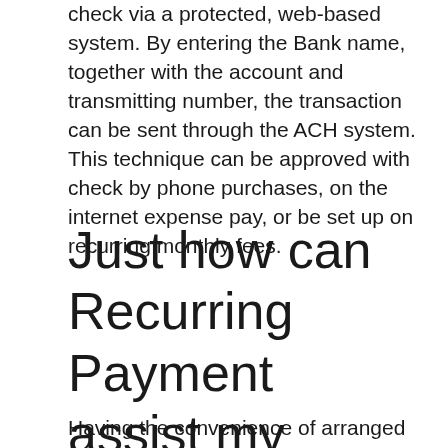check via a protected, web-based system. By entering the Bank name, together with the account and transmitting number, the transaction can be sent through the ACH system. This technique can be approved with check by phone purchases, on the internet expense pay, or be set up on recurring monthly fees.
Just how can Recurring Payment assist my organization?
Having the convenience of arranged